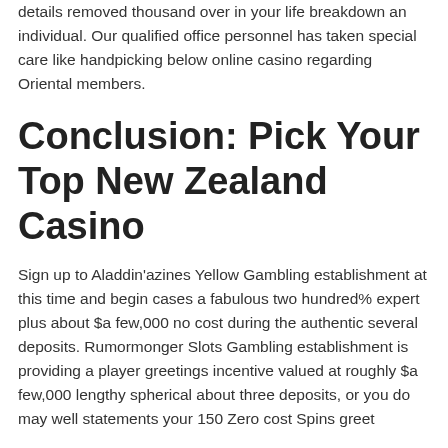details removed thousand over in your life breakdown an individual. Our qualified office personnel has taken special care like handpicking below online casino regarding Oriental members.
Conclusion: Pick Your Top New Zealand Casino
Sign up to Aladdin'azines Yellow Gambling establishment at this time and begin cases a fabulous two hundred% expert plus about $a few,000 no cost during the authentic several deposits. Rumormonger Slots Gambling establishment is providing a player greetings incentive valued at roughly $a few,000 lengthy spherical about three deposits, or you do may well statements your 150 Zero cost Spins greet